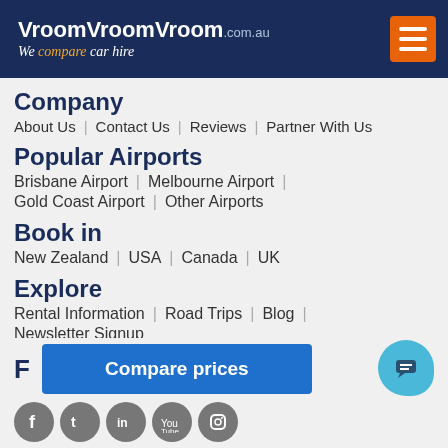VroomVroomVroom.com.au — We compare car hire
Company
About Us | Contact Us | Reviews | Partner With Us
Popular Airports
Brisbane Airport | Melbourne Airport | Gold Coast Airport | Other Airports
Book in
New Zealand | USA | Canada | UK
Explore
Rental Information | Road Trips | Blog | Newsletter Signup
Compare prices